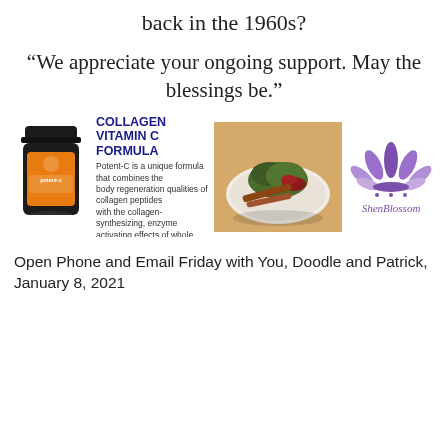back in the 1960s?
“We appreciate your ongoing support. May the blessings be.”
[Figure (illustration): Advertisement banner for Potent-C Collagen Vitamin C Formula by ShenBlossom. Shows a dark jar of the product on the left, bold blue text headline in the center, descriptive text about the formula combining collagen peptides with whole food vitamin C, a photo of herbs and spices on a plate in the background, and the ShenBlossom logo (purple lotus flower) on the right.]
Open Phone and Email Friday with You, Doodle and Patrick, January 8, 2021